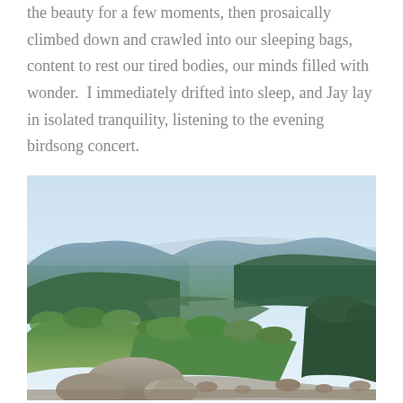the beauty for a few moments, then prosaically climbed down and crawled into our sleeping bags, content to rest our tired bodies, our minds filled with wonder.  I immediately drifted into sleep, and Jay lay in isolated tranquility, listening to the evening birdsong concert.
[Figure (photo): A mountain landscape photograph showing rolling green forested ridges under a light blue sky, with rocky outcroppings and shrubs in the foreground.]